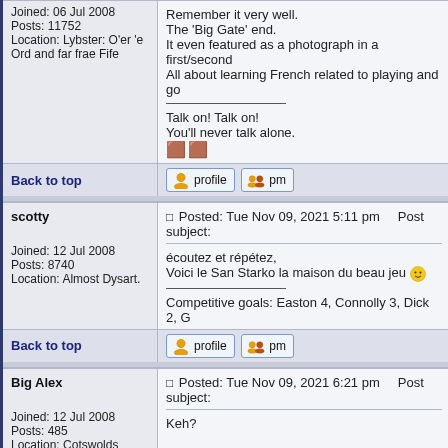Joined: 06 Jul 2008
Posts: 11752
Location: Lybster: O'er 'e Ord and far frae Fife
Remember it very well.
The 'Big Gate' end.
It even featured as a photograph in a first/second 
All about learning French related to playing and go
Talk on! Talk on!
You'll never talk alone.
Back to top
scotty
Joined: 12 Jul 2008
Posts: 8740
Location: Almost Dysart.
Posted: Tue Nov 09, 2021 5:11 pm    Post subject:
écoutez et répétez,
Voici le San Starko la maison du beau jeu
Competitive goals: Easton 4, Connolly 3, Dick 2, G
Back to top
Big Alex
Joined: 12 Jul 2008
Posts: 485
Location: Cotswolds
Posted: Tue Nov 09, 2021 6:21 pm    Post subject:
Keh?

French is lost on me (umless it relates to a menu